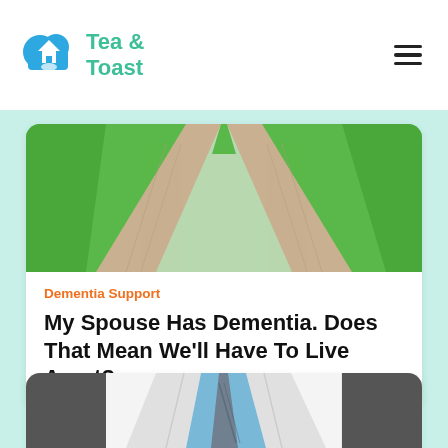Tea & Toast
[Figure (photo): A forking gravel path through green grass, splitting into two directions, viewed from above/front]
Dementia Support
My Spouse Has Dementia. Does That Mean We'll Have To Live Apart?
[Figure (photo): Person wearing a white coat and blue shirt with a tie, torso only visible — appears to be a medical professional]